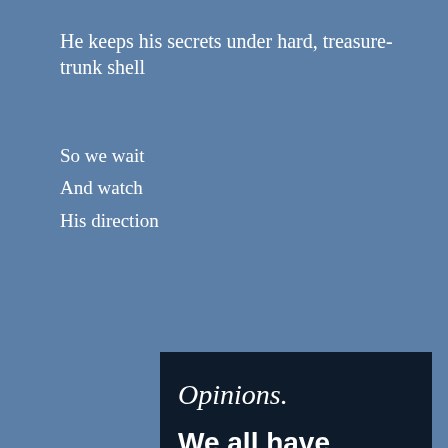He keeps his secrets under hard, treasure-trunk shell
So we wait
And watch
His direction
[Figure (screenshot): Advertisement banner with dark navy background showing text 'Opinions. We all have them!' with a pink 'Start a survey' button and a circular Crowdsignal logo]
Privacy & Cookies: This site uses cookies. By continuing to use this website, you agree to their use.
To find out more, including how to control cookies, see here: Cookie Policy
Close and accept